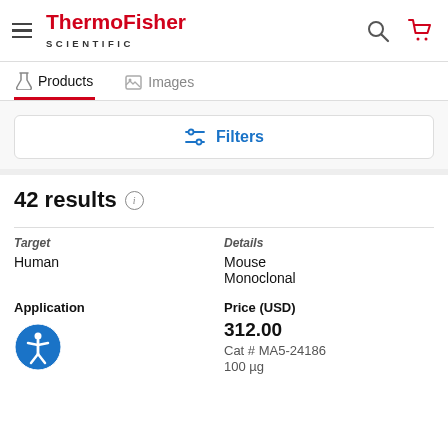ThermoFisher SCIENTIFIC — navigation header with hamburger menu, search icon, cart icon
Products | Images — tab bar, Products tab active
Filters — filter button
42 results
| Target | Details |
| --- | --- |
| Human | Mouse
Monoclonal |
| Application | Price (USD) |
| --- | --- |
|  | 312.00
Cat # MA5-24186
100 µg |